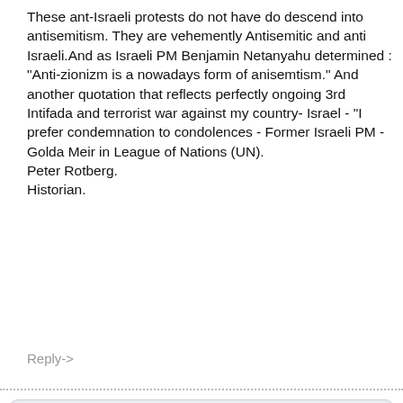These ant-Israeli protests do not have do descend into antisemitism. They are vehemently Antisemitic and anti Israeli.And as Israeli PM Benjamin Netanyahu determined : "Anti-zionizm is a nowadays form of anisemtism." And another quotation that reflects perfectly ongoing 3rd Intifada and terrorist war against my country- Israel - "I prefer condemnation to condolences - Former Israeli PM - Golda Meir in League of Nations (UN). Peter Rotberg. Historian.
Reply->
Subscribe to Our Free Daily Newsletter
Don't miss any of our commentary and analysis!
Not interested